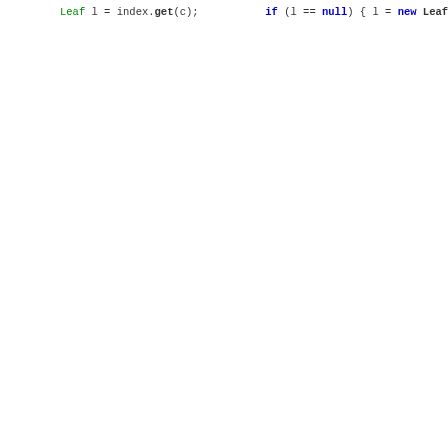[Figure (screenshot): Java source code snippet showing buildAlphabet method tail and main method with Huffman coding operations including string encoding, decoding, and assertions.]